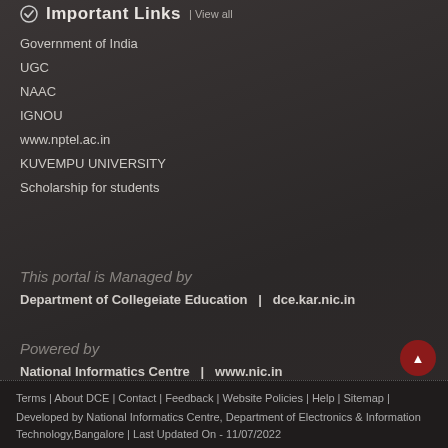Important Links | View all
Government of India
UGC
NAAC
IGNOU
www.nptel.ac.in
KUVEMPU UNIVERSITY
Scholarship for students
This portal is Managed by
Department of Collegeiate Education  |  dce.kar.nic.in
Powered by
National Informatics Centre  |  www.nic.in
Terms | About DCE | Contact | Feedback | Website Policies | Help | Sitemap | Developed by National Informatics Centre, Department of Electronics & Information Technology,Bangalore | Last Updated On - 11/07/2022